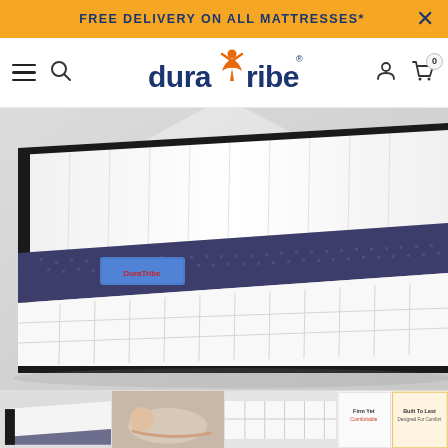FREE DELIVERY ON ALL MATTRESSES*
[Figure (logo): DuraTribe logo with orange figure icon and blue text]
[Figure (photo): Close-up product photo of a DuraTribe mattress showing white quilted fabric surface and navy blue side panel with blue label tag]
[Figure (photo): Thumbnail strip showing four product thumbnails: mattress corner, woman sleeping, mattress close-up, and product feature badges (Firm Yet Comfortable, Built To Last Designed For Comfort)]